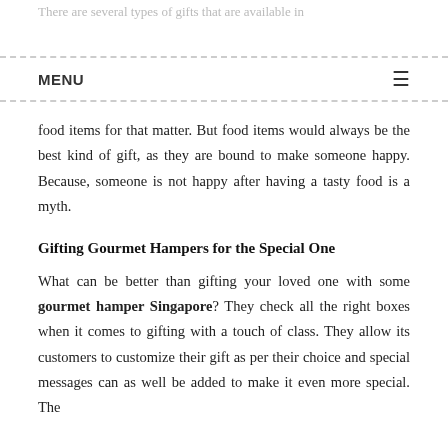There are several types of gifts that are available in the market; some prefer gifting toys or mementos, whereas some prefer gifting cakes or chocolates, food items for that matter. But food items would always be the best kind of gift, as they are bound to make someone happy. Because, someone is not happy after having a tasty food is a myth.
MENU ☰
Gifting Gourmet Hampers for the Special One
What can be better than gifting your loved one with some gourmet hamper Singapore? They check all the right boxes when it comes to gifting with a touch of class. They allow its customers to customize their gift as per their choice and special messages can as well be added to make it even more special. The